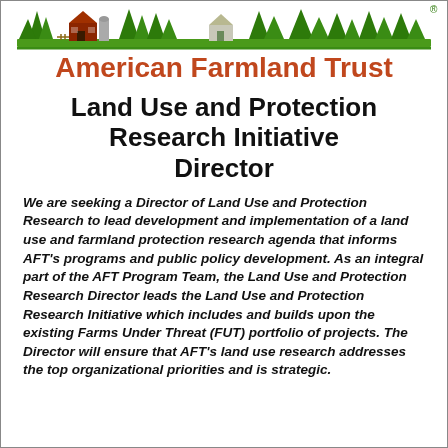[Figure (illustration): American Farmland Trust logo — green farm scene silhouette with trees, barn, and fields, with a registered trademark symbol]
American Farmland Trust
Land Use and Protection Research Initiative Director
We are seeking a Director of Land Use and Protection Research to lead development and implementation of a land use and farmland protection research agenda that informs AFT's programs and public policy development. As an integral part of the AFT Program Team, the Land Use and Protection Research Director leads the Land Use and Protection Research Initiative which includes and builds upon the existing Farms Under Threat (FUT) portfolio of projects. The Director will ensure that AFT's land use research addresses the top organizational priorities and is strategic.